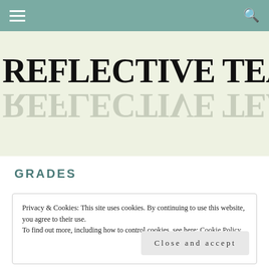Navigation bar with hamburger menu and search icon
REFLECTIVE TEACHING
GRADES
Privacy & Cookies: This site uses cookies. By continuing to use this website, you agree to their use.
To find out more, including how to control cookies, see here: Cookie Policy
Close and accept